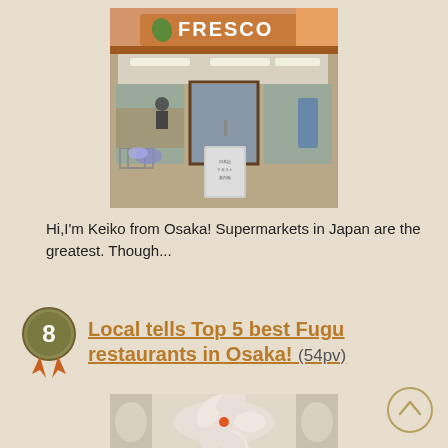[Figure (photo): Exterior photo of FRESCO supermarket in Japan, showing storefront with brown/orange signage, shopping carts, and merchandise displays]
Hi,I'm Keiko from Osaka! Supermarkets in Japan are the greatest. Though...
[Figure (infographic): Ranking badge number 8 with gold/olive circle and orange ribbon/medal below]
Local tells Top 5 best Fugu restaurants in Osaka! (54pv)
[Figure (photo): Close-up photo of fugu (pufferfish) sashimi arranged in a flower pattern on a plate]
[Figure (other): Scroll-to-top button: circle with upward arrow chevron in gold/tan color]